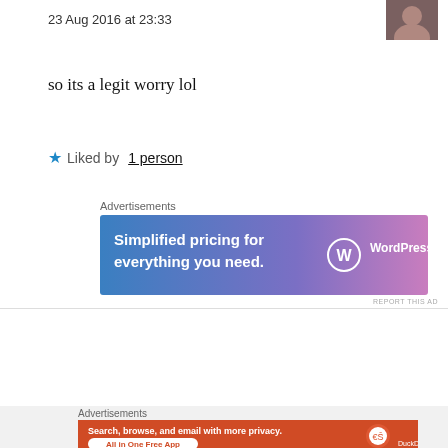23 Aug 2016 at 23:33
so its a legit worry lol
★ Liked by 1 person
Advertisements
[Figure (other): WordPress.com advertisement banner: 'Simplified pricing for everything you need.' with WordPress.com logo on blue-to-pink gradient background]
REPORT THIS AD
Simon
[Figure (photo): Avatar photo of a bearded man]
23 Aug 2016 at 10:33
Advertisements
[Figure (other): DuckDuckGo advertisement: 'Search, browse, and email with more privacy. All in One Free App' on orange background with phone graphic and DuckDuckGo logo]